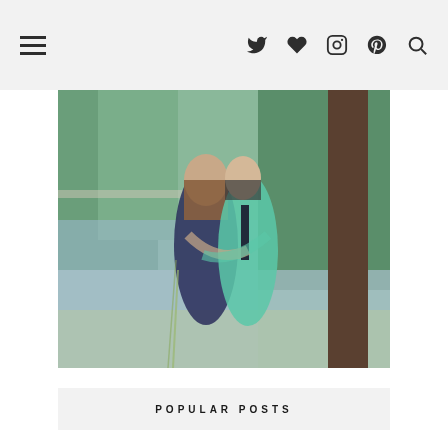Navigation bar with hamburger menu, Twitter, heart/Bloglovin, Instagram, Pinterest, Search icons
[Figure (photo): A couple kissing outdoors near a tree by a river, woman in dark polka-dot dress, man in teal shirt with dark tie]
POPULAR POSTS
[Figure (photo): Close-up of person's feet wearing Adidas sneakers and jeans on gravel]
Sporty Chic
[Figure (photo): Person in seersucker outfit near water with seagulls]
Seersucker and Seagulls